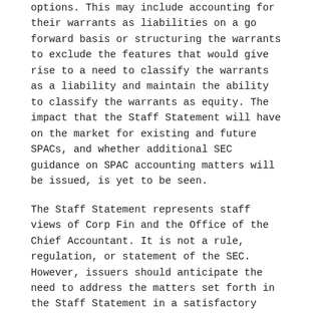options. This may include accounting for their warrants as liabilities on a go forward basis or structuring the warrants to exclude the features that would give rise to a need to classify the warrants as a liability and maintain the ability to classify the warrants as equity. The impact that the Staff Statement will have on the market for existing and future SPACs, and whether additional SEC guidance on SPAC accounting matters will be issued, is yet to be seen.
The Staff Statement represents staff views of Corp Fin and the Office of the Chief Accountant. It is not a rule, regulation, or statement of the SEC. However, issuers should anticipate the need to address the matters set forth in the Staff Statement in a satisfactory manner in connection with the SEC comment and review process with respect to IPOs and their ongoing periodic reports made under the Securities Exchange Act of 1934.
For more information, including a discussion on SPAC liability risk issues raised in John Coates' April 8 statement, see our full article published in the National Law Journal on April 16,